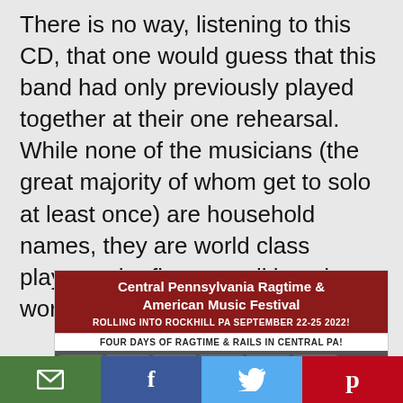There is no way, listening to this CD, that one would guess that this band had only previously played together at their one rehearsal. While none of the musicians (the great majority of whom get to solo at least once) are household names, they are world class players who fit very well into the world of swing.
[Figure (other): Advertisement for Central Pennsylvania Ragtime & American Music Festival. Dark red header with white text: 'Central Pennsylvania Ragtime & American Music Festival', subtitle 'ROLLING INTO ROCKHILL PA SEPTEMBER 22-25 2022!', white tagline bar 'FOUR DAYS OF RAGTIME & RAILS IN CENTRAL PA!', and a photo strip of performers at the bottom.]
[Figure (other): Social sharing bar at the bottom with four buttons: email (green), Facebook (blue), Twitter (light blue), Pinterest (red)]